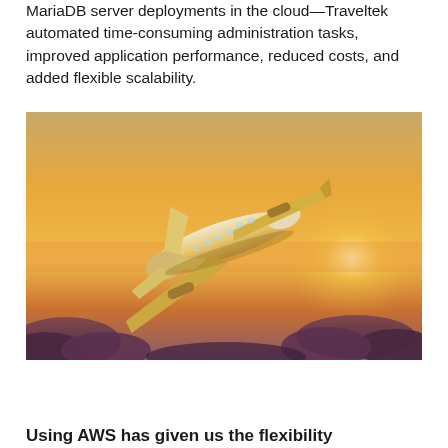MariaDB server deployments in the cloud—Traveltek automated time-consuming administration tasks, improved application performance, reduced costs, and added flexible scalability.
[Figure (photo): Photograph of a commercial airplane flying against a warm sunset sky with orange and golden hues, with clouds visible at the bottom of the image.]
Using AWS has given us the flexibility